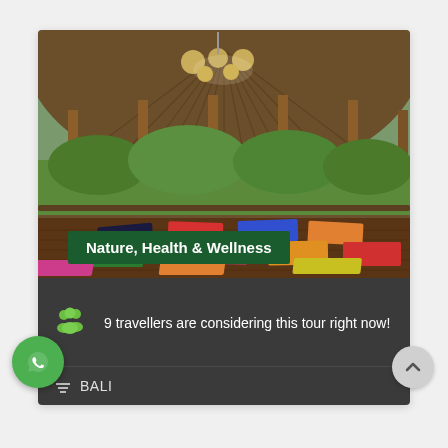[Figure (photo): Interior of an open-air yoga studio with a thatched circular roof, wooden floor, colorful yoga mats arranged across the floor, chandeliers hanging from the ceiling, and lush tropical greenery visible in the background.]
Nature, Health & Wellness
9 travellers are considering this tour right now!
BALI